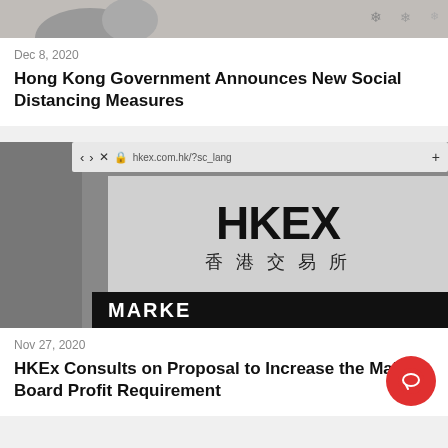[Figure (photo): Top portion of a news card showing a grey partially visible photo with decorative icons at top right]
Dec 8, 2020
Hong Kong Government Announces New Social Distancing Measures
[Figure (photo): Black and white photo of an HKEX (Hong Kong Exchange) website shown on a smartphone browser, displaying the HKEX logo and Chinese characters 香港交易所, with a partial MARKET text at the bottom]
Nov 27, 2020
HKEx Consults on Proposal to Increase the Main Board Profit Requirement